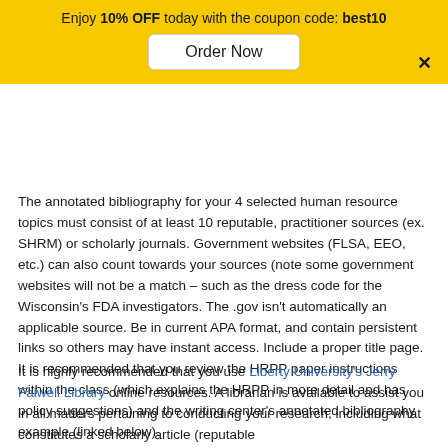Enjoy 10% OFF today with the coupon code: best10
The annotated bibliography for your 4 selected human resource topics must consist of at least 10 reputable, practitioner sources (ex. SHRM) or scholarly journals. Government websites (FLSA, EEO, etc.) can also count towards your sources (note some government websites will not be a match – such as the dress code for the Wisconsin's FDA investigators. The .gov isn't automatically an applicable source. Be in current APA format, and contain persistent links so others may have instant access. Include a proper title page. It is recommended that you review the HRPP paper instructions within the class (which explains the HRPP in more detail and has policy suggestions) and the writing center's annotated bibliography example (linked below).
It is highly recommended that you use Liberty University's Jerry Falwell Library online resources. A librarian is available to assist you in all matters pertaining to conducting your research, including what constitutes a scholarly article (reputable